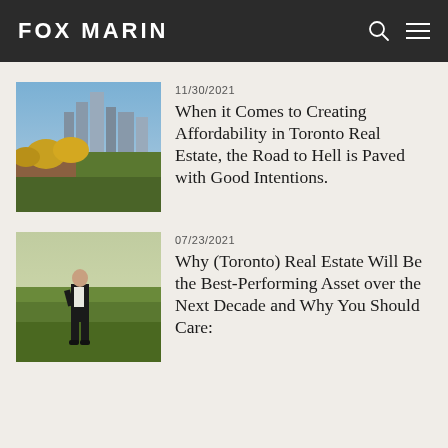FOX MARIN
11/30/2021
When it Comes to Creating Affordability in Toronto Real Estate, the Road to Hell is Paved with Good Intentions.
07/23/2021
Why (Toronto) Real Estate Will Be the Best-Performing Asset over the Next Decade and Why You Should Care: